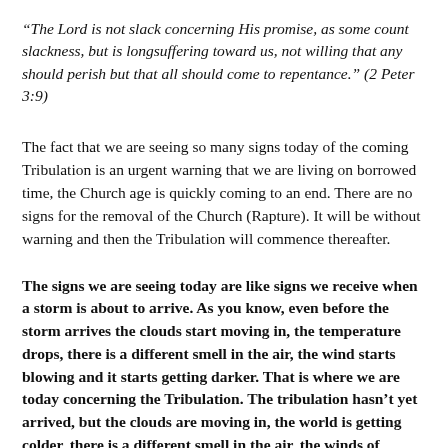“The Lord is not slack concerning His promise, as some count slackness, but is longsuffering toward us, not willing that any should perish but that all should come to repentance.” (2 Peter 3:9)
The fact that we are seeing so many signs today of the coming Tribulation is an urgent warning that we are living on borrowed time, the Church age is quickly coming to an end. There are no signs for the removal of the Church (Rapture). It will be without warning and then the Tribulation will commence thereafter.
The signs we are seeing today are like signs we receive when a storm is about to arrive. As you know, even before the storm arrives the clouds start moving in, the temperature drops, there is a different smell in the air, the wind starts blowing and it starts getting darker. That is where we are today concerning the Tribulation. The tribulation hasn’t yet arrived, but the clouds are moving in, the world is getting colder, there is a different smell in the air, the winds of rebellion are picking up